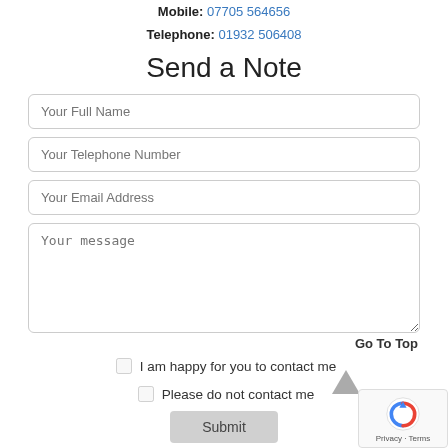Mobile: 07705 564656
Telephone: 01932 506408
Send a Note
Your Full Name
Your Telephone Number
Your Email Address
Your message
Go To Top
I am happy for you to contact me
Please do not contact me
Submit